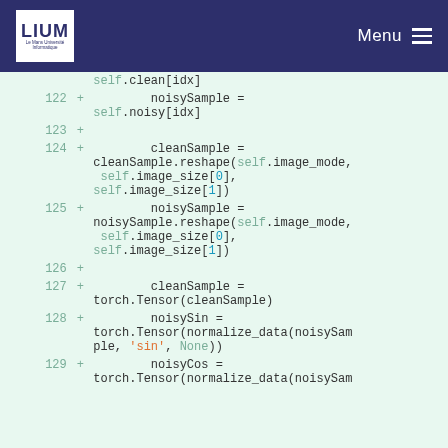LIUM | Menu
[Figure (screenshot): Code diff view showing Python class method lines 122-129 with green background (added lines), line numbers, plus signs, and code for noisySample, cleanSample, noisySin, noisyCos variable assignments with reshape and torch.Tensor calls.]